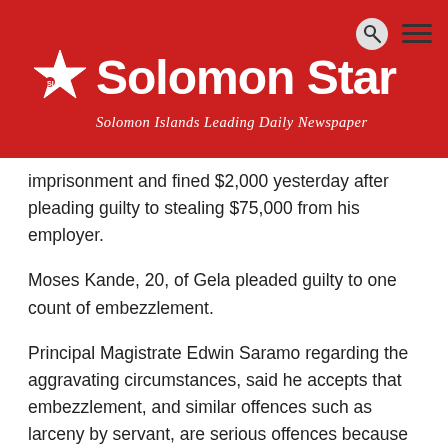Solomon Star — Solomon Islands Leading Daily Newspaper
imprisonment and fined $2,000 yesterday after pleading guilty to stealing $75,000 from his employer.
Moses Kande, 20, of Gela pleaded guilty to one count of embezzlement.
Principal Magistrate Edwin Saramo regarding the aggravating circumstances, said he accepts that embezzlement, and similar offences such as larceny by servant, are serious offences because they destroyed the trust that an employer has in his/her employee.
"Society frowns on those who launch dishonest practices from positions of trust and the law, which represents the conscience of society, condemns them to punishment.
"The sentencing goal for such offender is deterrence, hence the